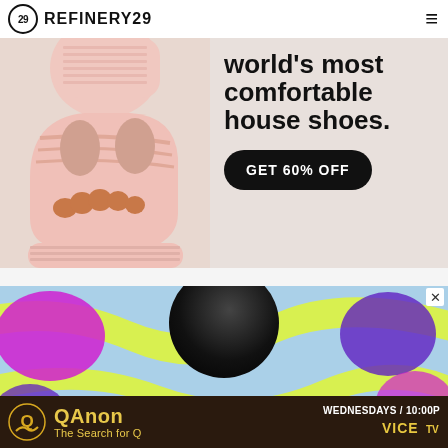REFINERY29
[Figure (photo): Advertisement showing pink foam house slide sandals worn by a person, with text 'world's most comfortable house shoes.' and a black button 'GET 60% OFF']
[Figure (infographic): Advertisement for 'QAnon: The Search for Q' on VICE TV, Wednesdays 10:00P, with colorful wavy background in yellow, magenta, and purple, and a dark sphere/orb above the bottom bar.]